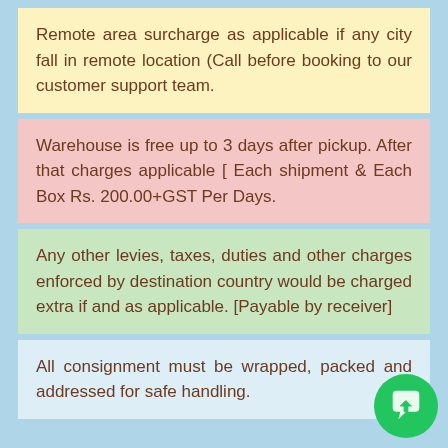Remote area surcharge as applicable if any city fall in remote location (Call before booking to our customer support team.
Warehouse is free up to 3 days after pickup. After that charges applicable [ Each shipment & Each Box Rs. 200.00+GST Per Days.
Any other levies, taxes, duties and other charges enforced by destination country would be charged extra if and as applicable. [Payable by receiver]
All consignment must be wrapped, packed and addressed for safe handling.